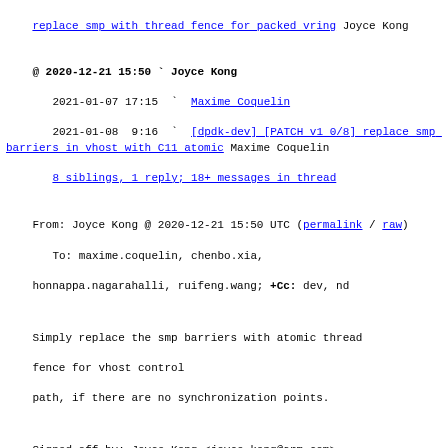replace smp with thread fence for packed vring Joyce Kong
@ 2020-12-21 15:50  `  Joyce Kong
  2021-01-07 17:15   `  Maxime Coquelin
  2021-01-08  9:16   `  [dpdk-dev] [PATCH v1 0/8] replace smp barriers in vhost with C11 atomic Maxime Coquelin
  8 siblings, 1 reply; 18+ messages in thread
From: Joyce Kong @ 2020-12-21 15:50 UTC (permalink / raw)
  To: maxime.coquelin, chenbo.xia, honnappa.nagarahalli, ruifeng.wang; +Cc: dev, nd
Simply replace the smp barriers with atomic thread fence for vhost control
path, if there are no synchronization points.
Signed-off-by: Joyce Kong <joyce.kong@arm.com>
Reviewed-by: Ruifeng Wang <ruifeng.wang@arm.com>
---
 lib/librte vhost/vhost.c      | 18 ++++++++---------
 lib/librte vhost/vhost.h      |  6 +++---
 lib/librte vhost/vhost user.c |  2 +-
 lib/librte vhost/virtio net.c |  2 +-
 4 files changed, 14 insertions(+), 14 deletions(-)
diff --git a/lib/librte_vhost/vhost.c b/lib/librte_vhost/vhost.c
index b83cf639e..c69b10560 100644
--- a/lib/librte_vhost/vhost.c
+++ b/lib/librte_vhost/vhost.c
@@ -106,7 +106,7 @@  vhost log write(struct virtio net